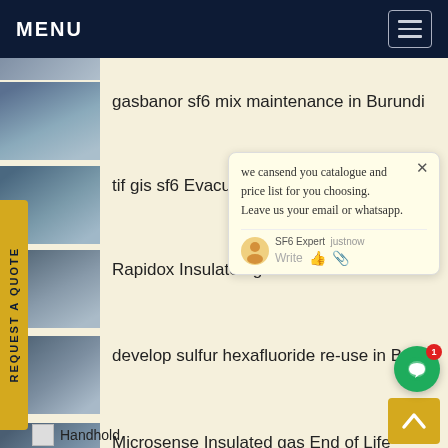MENU
gasbanor sf6 mix maintenance in Burundi
tif gis sf6 Evacuation in T...
Rapidox Insulated g... ...had
develop sulfur hexafluoride re-use in Brazil
Microsense Insulated gas End of Life Services in Syria
Handhold
we cansend you catalogue and price list for you choosing. Leave us your email or whatsapp.
SF6 Expert  justnow
Write